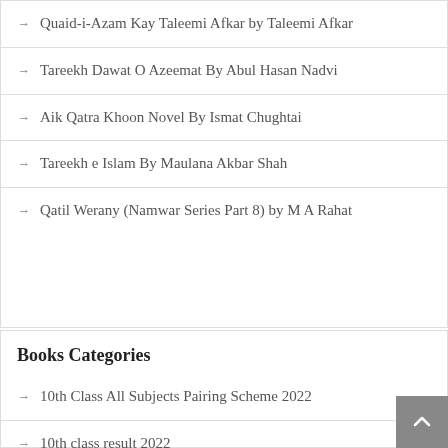Quaid-i-Azam Kay Taleemi Afkar by Taleemi Afkar
Tareekh Dawat O Azeemat By Abul Hasan Nadvi
Aik Qatra Khoon Novel By Ismat Chughtai
Tareekh e Islam By Maulana Akbar Shah
Qatil Werany (Namwar Series Part 8) by M A Rahat
Books Categories
10th Class All Subjects Pairing Scheme 2022
10th class result 2022